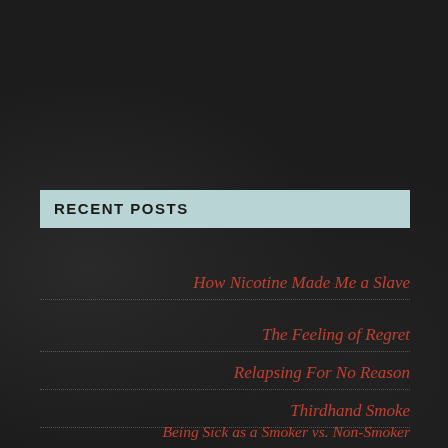RECENT POSTS
How Nicotine Made Me a Slave
The Feeling of Regret
Relapsing For No Reason
Thirdhand Smoke
Being Sick as a Smoker vs. Non-Smoker